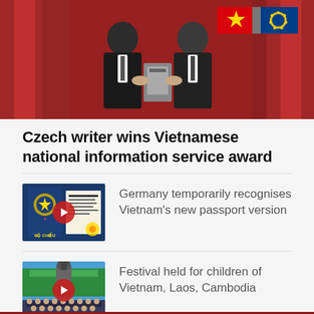[Figure (photo): Two men in suits shaking hands and holding a trophy/award plaque in front of red curtains and national flags including Vietnam and ASEAN flags]
Czech writer wins Vietnamese national information service award
[Figure (photo): Vietnamese passport and documents with the Vietnamese national emblem on a dark blue background - thumbnail with play button]
Germany temporarily recognises Vietnam's new passport version
[Figure (photo): Festival scene with a monument and rows of children or performers in uniform - thumbnail with play button]
Festival held for children of Vietnam, Laos, Cambodia